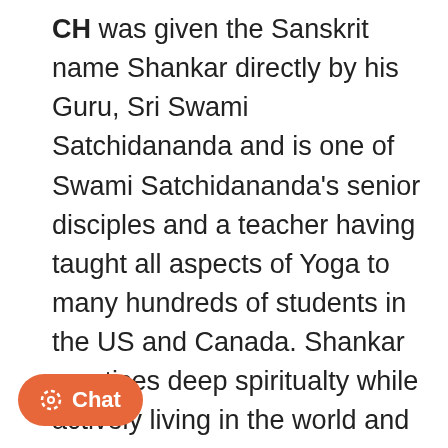CH was given the Sanskrit name Shankar directly by his Guru, Sri Swami Satchidananda and is one of Swami Satchidananda's senior disciples and a teacher having taught all aspects of Yoga to many hundreds of students in the US and Canada. Shankar practices deep spiritualty while actively living in the world and cares deeply about all our spiritual growth and the release from suffering and delusion. When teaching, Shankar invokes the Light of Lights to bless all in his presence. He will be the first to tell you anything good that comes from him comes from the Divine Force own accord chooses to use him as an instrument. Shankar is an Integral Yoga